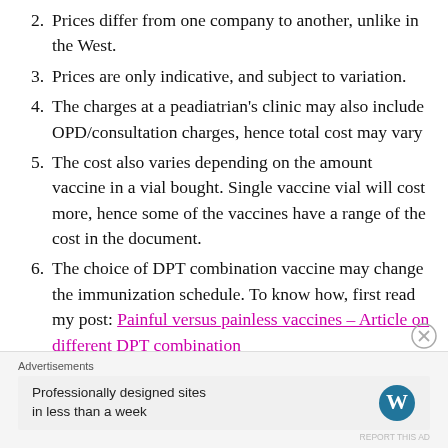2. Prices differ from one company to another, unlike in the West.
3. Prices are only indicative, and subject to variation.
4. The charges at a peadiatrian's clinic may also include OPD/consultation charges, hence total cost may vary
5. The cost also varies depending on the amount vaccine in a vial bought. Single vaccine vial will cost more, hence some of the vaccines have a range of the cost in the document.
6. The choice of DPT combination vaccine may change the immunization schedule. To know how, first read my post: Painful versus painless vaccines – Article on different DPT combination
Advertisements
Professionally designed sites in less than a week